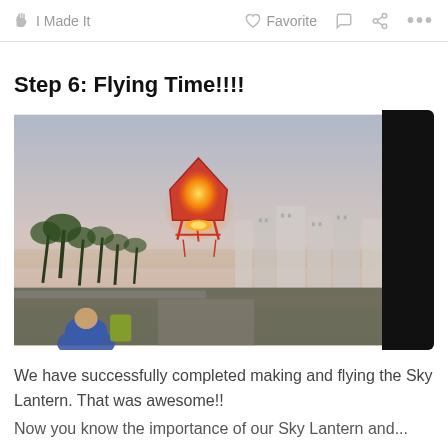🖐 I Made It   ❤ Favorite  💬  ⬡  •••
Step 6: Flying Time!!!!
[Figure (photo): A red sky lantern glowing with an orange light floats in the air at dusk, with palm trees and city buildings visible in the background. A person in a blue shirt is visible at the bottom left.]
We have successfully completed making and flying the Sky Lantern. That was awesome!!
Now you know the importance of our Sky Lantern and...